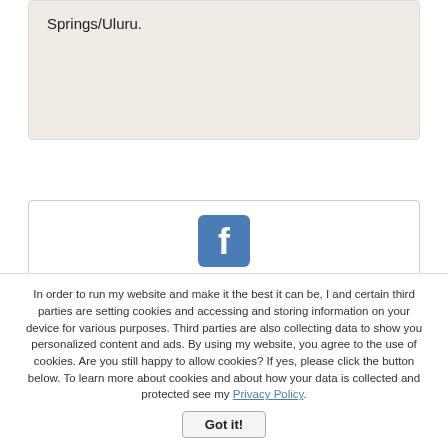Springs/Uluru.
[Figure (logo): Facebook icon — blue rounded square with white 'f' logo]
Facebook
[Figure (logo): Twitter icon — blue rounded square with white bird logo]
In order to run my website and make it the best it can be, I and certain third parties are setting cookies and accessing and storing information on your device for various purposes. Third parties are also collecting data to show you personalized content and ads. By using my website, you agree to the use of cookies. Are you still happy to allow cookies? If yes, please click the button below. To learn more about cookies and about how your data is collected and protected see my Privacy Policy.
Got it!